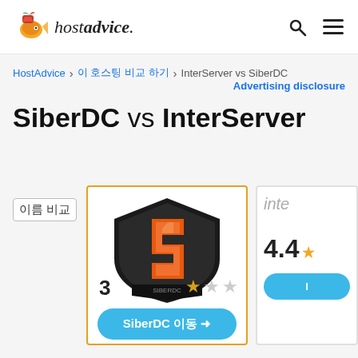[Figure (logo): HostAdvice logo with goldfish mascot icon and italic hostadvice. text]
hostadvice. [search icon] [menu icon]
HostAdvice > 이 호스팅 비교 하기 > InterServer vs SiberDC
Advertising disclosure
SiberDC vs InterServer
이름 비교
[Figure (logo): SiberDC shield logo with orange S shape on dark background, rating 3 stars (1 gold, 2 gray), with SiberDC button below]
[Figure (screenshot): Partially visible InterServer card showing name 'inte' and rating 4.4 with stars and button]